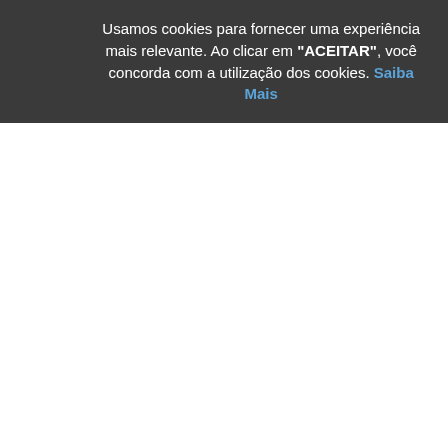Usamos cookies para fornecer uma experiência mais relevante. Ao clicar em "ACEITAR", você concorda com a utilização dos cookies. Saiba Mais
(S)FTP Port Number
Root Directory
User ID *
Password *
Select a speed for FTP file
Maximum Download Time
These details can also b section.
| Date | S |
| --- | --- |
| 06/18/2014 |  |